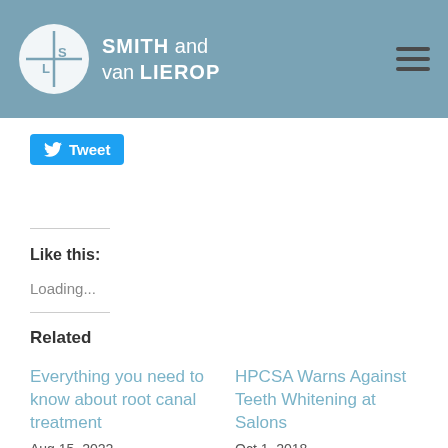SMITH and van LIEROP
Tweet
Like this:
Loading...
Related
Everything you need to know about root canal treatment
Aug 15, 2022
In "Blog"
HPCSA Warns Against Teeth Whitening at Salons
Oct 1, 2018
In "Blog"